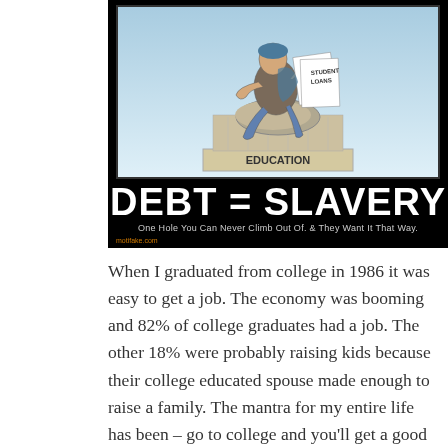[Figure (illustration): A motivational-poster style meme image on a black background. Top portion shows an illustration of a figure (like The Thinker) sitting on a pedestal labeled 'EDUCATION' and holding papers labeled 'STUDENT LOANS'. Large white text reads 'DEBT = SLAVERY'. Below that in smaller white text: 'One Hole You Can Never Climb Out Of. & They Want It That Way.' Bottom left has 'motifake.com' in orange text.]
When I graduated from college in 1986 it was easy to get a job. The economy was booming and 82% of college graduates had a job. The other 18% were probably raising kids because their college educated spouse made enough to raise a family. The mantra for my entire life has been – go to college and you'll get a good paying job. It seems something went